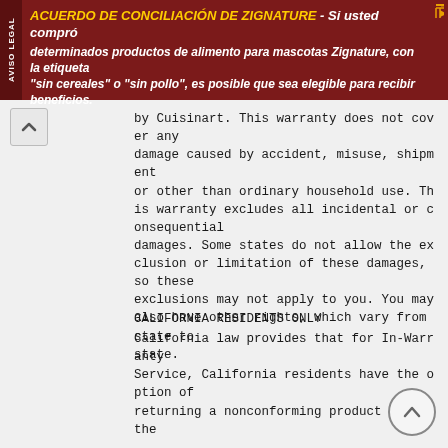[Figure (other): Advertisement banner in Spanish for Zignature pet food settlement. Dark red background with yellow and white bold italic text. Title: ACUERDO DE CONCILIACIÓN DE ZIGNATURE. Body text about pet food products labeled sin cereales or sin pollo.]
by Cuisinart. This warranty does not cover any damage caused by accident, misuse, shipment or other than ordinary household use. This warranty excludes all incidental or consequential damages. Some states do not allow the exclusion or limitation of these damages, so these exclusions may not apply to you. You may also have other rights, which vary from state to state.
CALIFORNIA RESIDENTS ONLY
California law provides that for In-Warranty Service, California residents have the option of returning a nonconforming product (A) to the